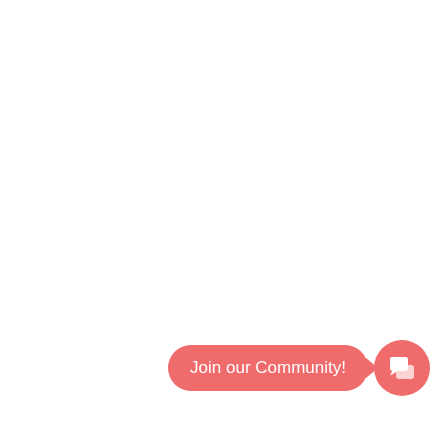[Figure (infographic): A community chat widget showing a salmon/coral colored pill-shaped button labeled 'Join our Community!' with a speech bubble pointer pointing to a circular icon button containing a chat/community icon, both in the same coral-red color.]